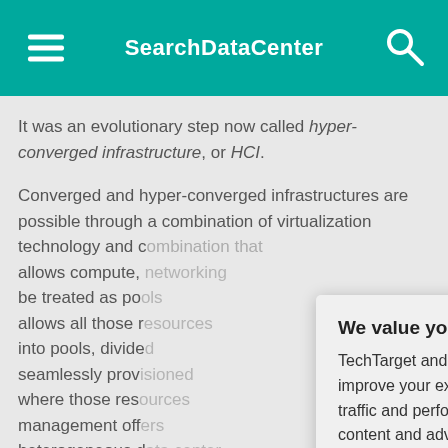SearchDataCenter
It was an evolutionary step now called hyper-converged infrastructure, or HCI.
Converged and hyper-converged infrastructures are possible through a combination of virtualization technology and c... allows compute, ... be treated as po... allows all those r... into pools, divide... seamlessly prov... where those res... management off... heterogeneous d... rely on multiple d... often didn't disco...
[Figure (screenshot): Privacy consent modal dialog with title 'We value your privacy.' and buttons OK and Settings, overlaid on article content]